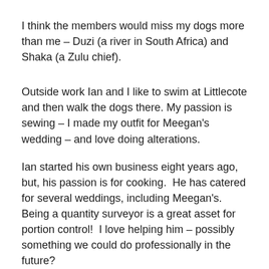I think the members would miss my dogs more than me – Duzi (a river in South Africa) and Shaka (a Zulu chief).
Outside work Ian and I like to swim at Littlecote and then walk the dogs there. My passion is sewing – I made my outfit for Meegan's wedding – and love doing alterations.
Ian started his own business eight years ago, but, his passion is for cooking.  He has catered for several weddings, including Meegan's. Being a quantity surveyor is a great asset for portion control!  I love helping him – possibly something we could do professionally in the future?